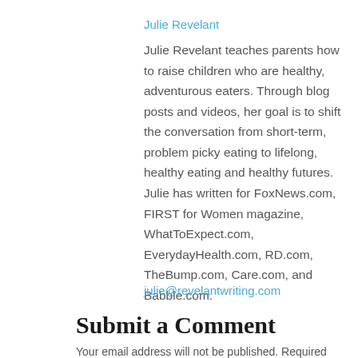Julie Revelant
Julie Revelant teaches parents how to raise children who are healthy, adventurous eaters. Through blog posts and videos, her goal is to shift the conversation from short-term, problem picky eating to lifelong, healthy eating and healthy futures. Julie has written for FoxNews.com, FIRST for Women magazine, WhatToExpect.com, EverydayHealth.com, RD.com, TheBump.com, Care.com, and Babble.com.
julie@revelantwriting.com
Submit a Comment
Your email address will not be published. Required fields